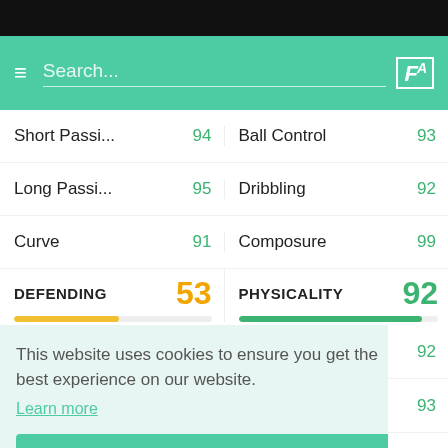[Figure (screenshot): Green navigation header bar with hamburger menu, search field, and FH logo]
| Stat | Value | Stat | Value |
| --- | --- | --- | --- |
| Short Passi... | 94 | Ball Control | 93 |
| Long Passi... | 95 | Dribbling | 92 |
| Curve | 91 | Composure | 99 |
| DEFENDING | 53 | PHYSICALITY | 92 |
| Interceptio... | 50 | Jumping | 87 |
92
93
90
This website uses cookies to ensure you get the best experience on our website.
Learn more
Got it!